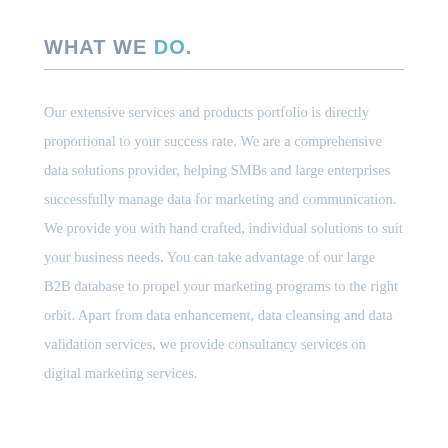WHAT WE DO.
Our extensive services and products portfolio is directly proportional to your success rate. We are a comprehensive data solutions provider, helping SMBs and large enterprises successfully manage data for marketing and communication. We provide you with hand crafted, individual solutions to suit your business needs. You can take advantage of our large B2B database to propel your marketing programs to the right orbit. Apart from data enhancement, data cleansing and data validation services, we provide consultancy services on digital marketing services.